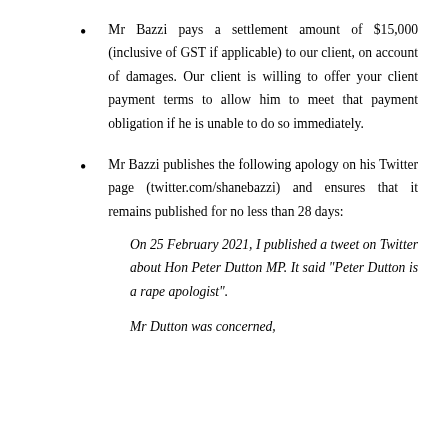Mr Bazzi pays a settlement amount of $15,000 (inclusive of GST if applicable) to our client, on account of damages. Our client is willing to offer your client payment terms to allow him to meet that payment obligation if he is unable to do so immediately.
Mr Bazzi publishes the following apology on his Twitter page (twitter.com/shanebazzi) and ensures that it remains published for no less than 28 days:
On 25 February 2021, I published a tweet on Twitter about Hon Peter Dutton MP. It said "Peter Dutton is a rape apologist".
Mr Dutton was concerned,